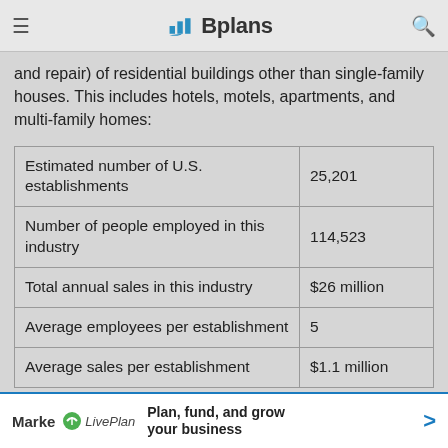Bplans
and repair) of residential buildings other than single-family houses. This includes hotels, motels, apartments, and multi-family homes:
|  |  |
| --- | --- |
| Estimated number of U.S. establishments | 25,201 |
| Number of people employed in this industry | 114,523 |
| Total annual sales in this industry | $26 million |
| Average employees per establishment | 5 |
| Average sales per establishment | $1.1 million |
Marke  LivePlan  Plan, fund, and grow your business  >